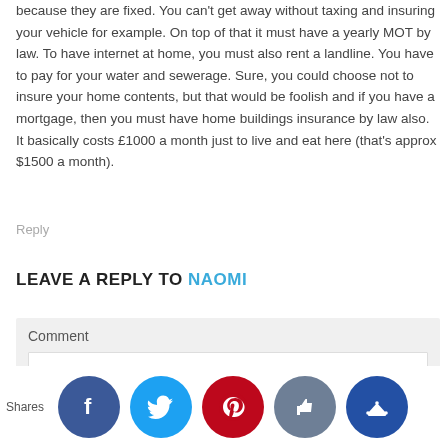because they are fixed. You can't get away without taxing and insuring your vehicle for example. On top of that it must have a yearly MOT by law. To have internet at home, you must also rent a landline. You have to pay for your water and sewerage. Sure, you could choose not to insure your home contents, but that would be foolish and if you have a mortgage, then you must have home buildings insurance by law also. It basically costs £1000 a month just to live and eat here (that's approx $1500 a month).
Reply
LEAVE A REPLY TO NAOMI
Comment
[Figure (other): Social share buttons row: Facebook (blue), Twitter (cyan), Pinterest (red), Thumbs up (grey-blue), Crown (dark blue). Shares label on the left.]